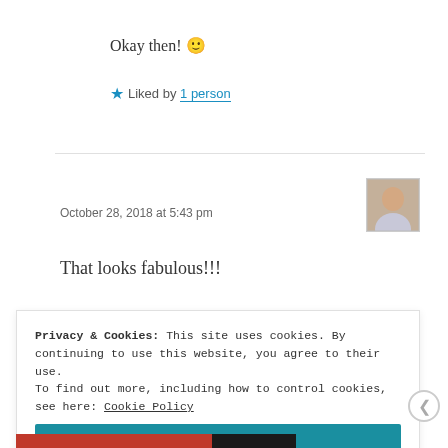Okay then! 🙂
★ Liked by 1 person
indianeskitchen
October 28, 2018 at 5:43 pm
[Figure (photo): Avatar photo of indianeskitchen user]
That looks fabulous!!!
Privacy & Cookies: This site uses cookies. By continuing to use this website, you agree to their use.
To find out more, including how to control cookies, see here: Cookie Policy
Close and accept